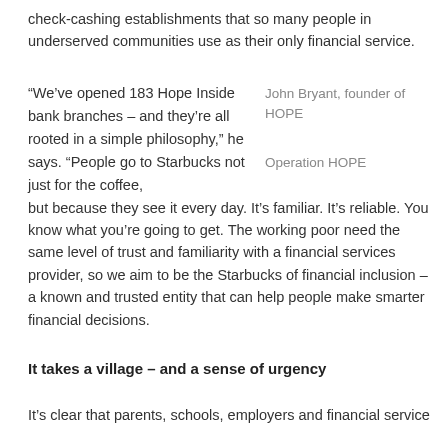check-cashing establishments that so many people in underserved communities use as their only financial service.
“We’ve opened 183 Hope Inside bank branches – and they’re all rooted in a simple philosophy,” he says. “People go to Starbucks not just for the coffee, but because they see it every day. It’s familiar. It’s reliable. You know what you’re going to get. The working poor need the same level of trust and familiarity with a financial services provider, so we aim to be the Starbucks of financial inclusion – a known and trusted entity that can help people make smarter financial decisions.
John Bryant, founder of HOPE
Operation HOPE
It takes a village – and a sense of urgency
It’s clear that parents, schools, employers and financial service